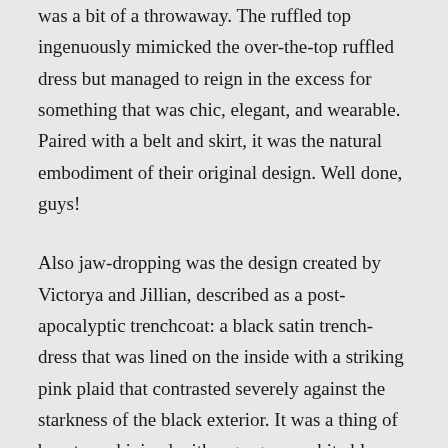was a bit of a throwaway. The ruffled top ingenuously mimicked the over-the-top ruffled dress but managed to reign in the excess for something that was chic, elegant, and wearable. Paired with a belt and skirt, it was the natural embodiment of their original design. Well done, guys!
Also jaw-dropping was the design created by Victorya and Jillian, described as a post-apocalyptic trenchcoat: a black satin trench-dress that was lined on the inside with a striking pink plaid that contrasted severely against the starkness of the black exterior. It was a thing of beauty and joined with a gorgeous white blouse with black details and a pair of equestrian pants. It was striking, fashion-forward, and I swear that the female judges were practically drooling with desire.
I thought that putting together Jillian and Victorya--both